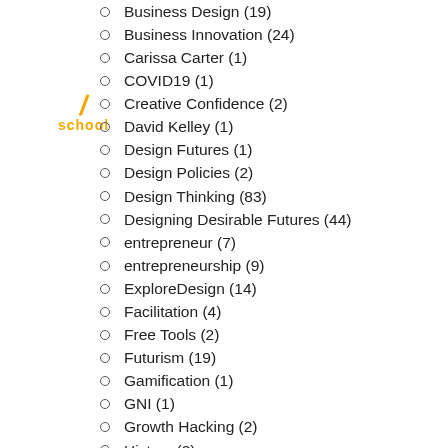[Figure (logo): School logo with orange slash and 'school' text in orange]
Business Design (19)
Business Innovation (24)
Carissa Carter (1)
COVID19 (1)
Creative Confidence (2)
David Kelley (1)
Design Futures (1)
Design Policies (2)
Design Thinking (83)
Designing Desirable Futures (44)
entrepreneur (7)
entrepreneurship (9)
ExploreDesign (14)
Facilitation (4)
Free Tools (2)
Futurism (19)
Gamification (1)
GNI (1)
Growth Hacking (2)
History (2)
IDEO (2)
In the Media (1)
Innovation (54)
Innovation Applied (17)